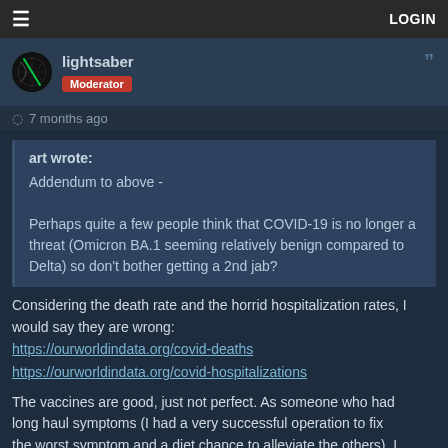≡   LOGIN
lightsaber
Moderator
7 months ago
art wrote:
Addendum to above -

Perhaps quite a few people think that COVID-19 is no longer a threat (Omicron BA.1 seeming relatively benign compared to Delta) so don't bother getting a 2nd jab?
Considering the death rate and the horrid hospitalization rates, I would say they are wrong:
https://ourworldindata.org/covid-deaths
https://ourworldindata.org/covid-hospitalizations
The vaccines are good, just not perfect. As someone who had long haul symptoms (I had a very successful operation to fix the worst symptom and a diet chance to alleviate the others), I would suggest getting a vaccine to reduce the risk of those long haul symptoms. This is a virus; the virus doesn't care about beliefs, just to propagate.